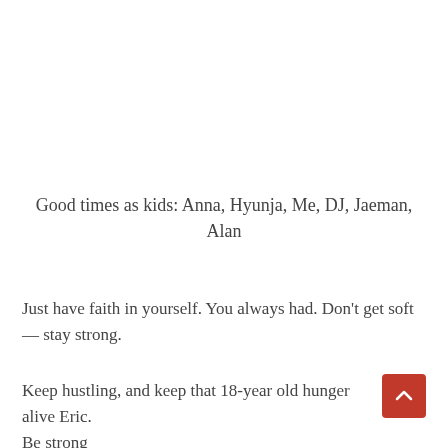Good times as kids: Anna, Hyunja, Me, DJ, Jaeman, Alan
Just have faith in yourself. You always had. Don't get soft— stay strong.
Keep hustling, and keep that 18-year old hunger alive Eric.
Be strong